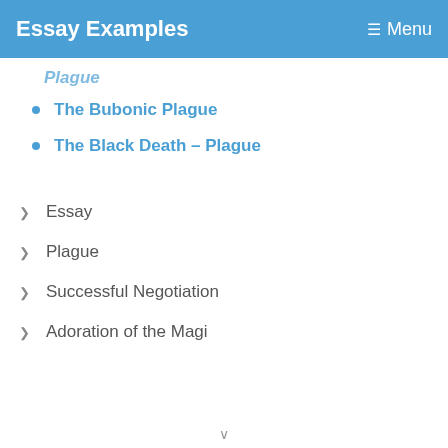Essay Examples  Menu
Plague (partial, cut off)
The Bubonic Plague
The Black Death – Plague
Essay
Plague
Successful Negotiation
Adoration of the Magi